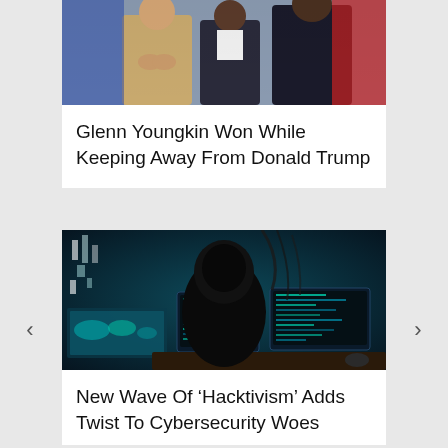[Figure (photo): People standing together, one in a beige coat clapping, others in dark suits, against a red/blue background — political event photo cropped at top]
Glenn Youngkin Won While Keeping Away From Donald Trump
[Figure (photo): Silhouette of a hooded figure sitting at a desk with multiple computer monitors displaying code/data in a dark blue-tinted cyberpunk environment — hacker scene]
New Wave Of ‘Hacktivism’ Adds Twist To Cybersecurity Woes